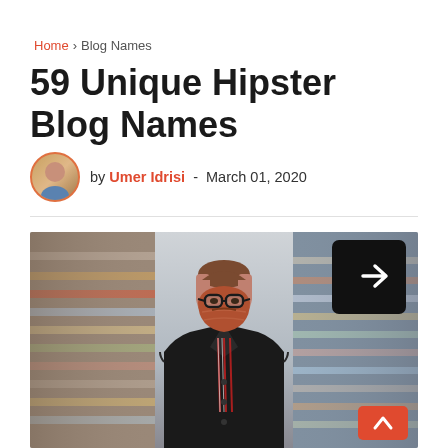Home > Blog Names
59 Unique Hipster Blog Names
by Umer Idrisi - March 01, 2020
[Figure (photo): A bearded man with glasses wearing a dark coat standing in a store aisle, hipster style. Has a share icon overlay in top-right corner and a scroll-to-top button in bottom-right.]